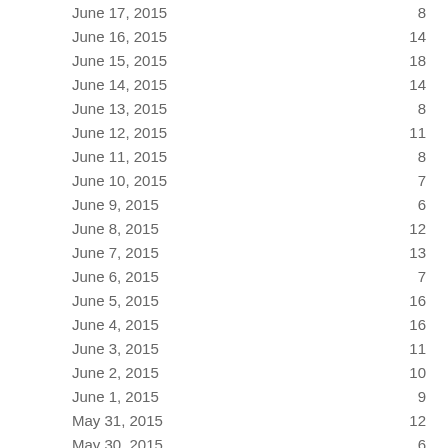| Date | Count |
| --- | --- |
| June 17, 2015 | 8 |
| June 16, 2015 | 14 |
| June 15, 2015 | 18 |
| June 14, 2015 | 14 |
| June 13, 2015 | 8 |
| June 12, 2015 | 11 |
| June 11, 2015 | 8 |
| June 10, 2015 | 7 |
| June 9, 2015 | 6 |
| June 8, 2015 | 12 |
| June 7, 2015 | 13 |
| June 6, 2015 | 7 |
| June 5, 2015 | 16 |
| June 4, 2015 | 16 |
| June 3, 2015 | 11 |
| June 2, 2015 | 10 |
| June 1, 2015 | 9 |
| May 31, 2015 | 12 |
| May 30, 2015 | 6 |
| May 29, 2015 | 11 |
| May 28, 2015 | 11 |
| May 27, 2015 | 10 |
| May 26, 2015 | 20 |
| May 25, 2015 |  |